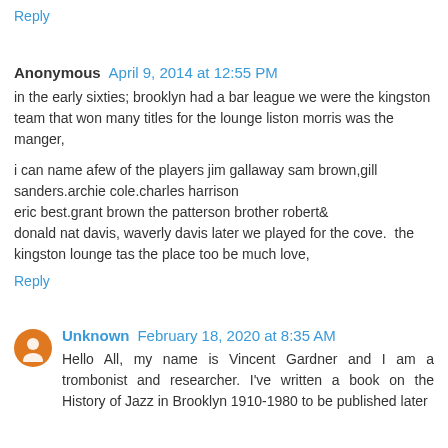Reply
Anonymous  April 9, 2014 at 12:55 PM
in the early sixties; brooklyn had a bar league we were the kingston team that won many titles for the lounge liston morris was the manger,

i can name afew of the players jim gallaway sam brown,gill sanders.archie cole.charles harrison
eric best.grant brown the patterson brother robert&
donald nat davis, waverly davis later we played for the cove. the kingston lounge tas the place too be much love,
Reply
Unknown  February 18, 2020 at 8:35 AM
Hello All, my name is Vincent Gardner and I am a trombonist and researcher. I've written a book on the History of Jazz in Brooklyn 1910-1980 to be published later